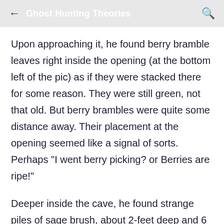Ghost Hunting Theories
Upon approaching it, he found berry bramble leaves right inside the opening (at the bottom left of the pic) as if they were stacked there for some reason. They were still green, not that old. But berry brambles were quite some distance away. Their placement at the opening seemed like a signal of sorts. Perhaps "I went berry picking? or Berries are ripe!"
Deeper inside the cave, he found strange piles of sage brush, about 2-feet deep and 6 or so feet